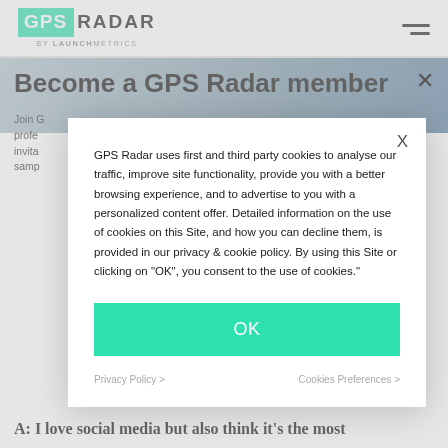GPS RADAR by LAUNCHMETRICS
Become a GPS Radar member
Join G... profe... invita... samp...
GPS Radar uses first and third party cookies to analyse our traffic, improve site functionality, provide you with a better browsing experience, and to advertise to you with a personalized content offer. Detailed information on the use of cookies on this Site, and how you can decline them, is provided in our privacy & cookie policy. By using this Site or clicking on "OK", you consent to the use of cookies."
OK
Privacy Policy >
Cookies Preferences >
A: I love social media but also think it's the most